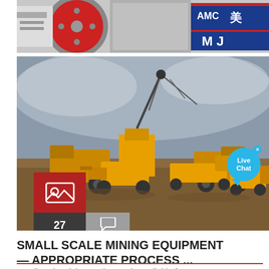[Figure (photo): Close-up photo of industrial mining machinery with red wheel and AMC MJ signage]
[Figure (photo): Wide-angle photo of multiple yellow Caterpillar mining machines and heavy equipment at a mining site under cloudy sky, with Live Chat bubble overlay, red image icon box, dark date box showing 27 FEB, and grey comment box showing 1698]
SMALL SCALE MINING EQUIPMENT — APPROPRIATE PROCESS ...
Small scale mining equipment is available from renown